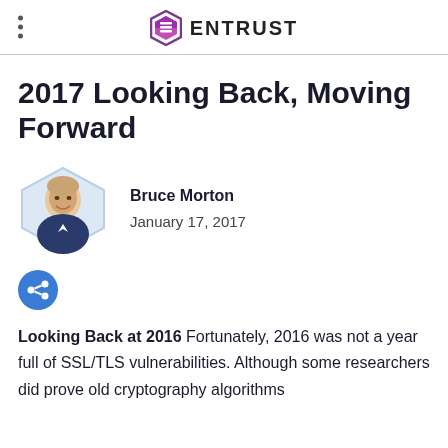ENTRUST
2017 Looking Back, Moving Forward
[Figure (photo): Hexagonal portrait photo of Bruce Morton, author]
Bruce Morton
January 17, 2017
[Figure (other): Share button icon (blue circle with share symbol)]
Looking Back at 2016 Fortunately, 2016 was not a year full of SSL/TLS vulnerabilities. Although some researchers did prove old cryptography algorithms